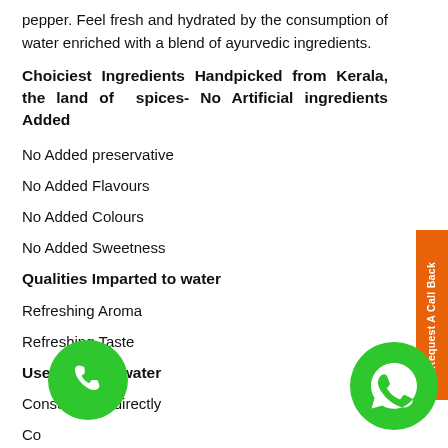pepper. Feel fresh and hydrated by the consumption of water enriched with a blend of ayurvedic ingredients.
Choiciest Ingredients Handpicked from Kerala, the land of spices- No Artificial ingredients Added
No Added preservative
No Added Flavours
No Added Colours
No Added Sweetness
Qualities Imparted to water
Refreshing Aroma
Refreshing Taste
Uses of Ayur water
Consuming it directly
Co
Se welcome drink
Add as an accompaniment to your morning meal